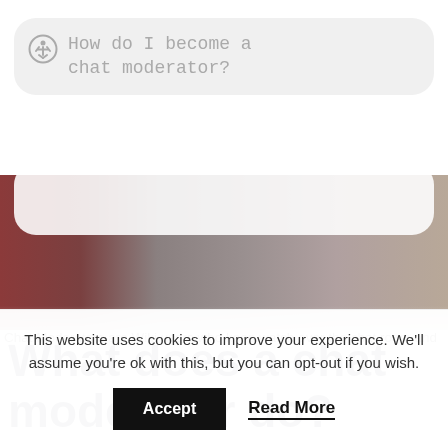How do I become a chat moderator?
[Figure (photo): A blurred photograph showing a dark interior scene with reddish-brown and grey tones, with a rounded white search bar overlay at the top.]
What does a chat moderator do?
Chat Moderators are Wiki users who keep watch over the chat room and
This website uses cookies to improve your experience. We'll assume you're ok with this, but you can opt-out if you wish.
Accept  Read More